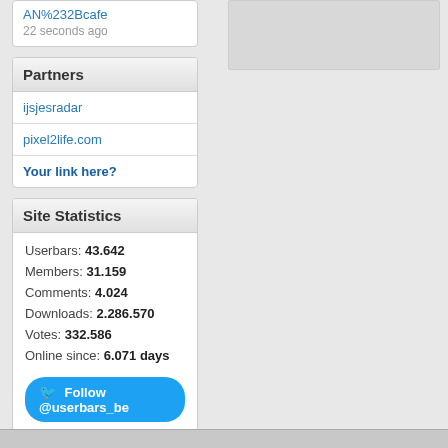AN%232Bcafe
22 seconds ago
Partners
ijsjesradar
pixel2life.com
Your link here?
Site Statistics
Userbars: 43.642
Members: 31.159
Comments: 4.024
Downloads: 2.286.570
Votes: 332.586
Online since: 6.071 days
Follow @userbars_be